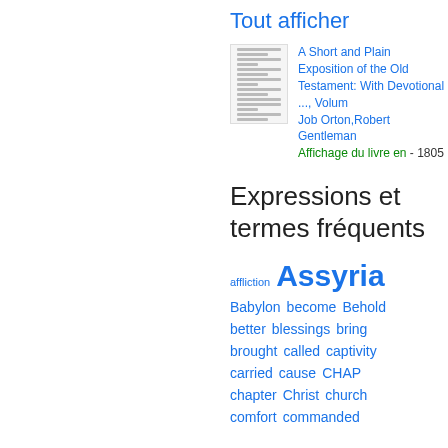Tout afficher
[Figure (illustration): Thumbnail of book cover for 'A Short and Plain Exposition of the Old Testament']
A Short and Plain Exposition of the Old Testament: With Devotional ..., Volume
Job Orton, Robert Gentleman
Affichage du livre en
- 1805
Expressions et termes fréquents
affliction
Assyria
Babylon
become
Behold
better
blessings
bring
brought
called
captivity
carried
cause
CHAP
chapter
Christ
church
comfort
commanded